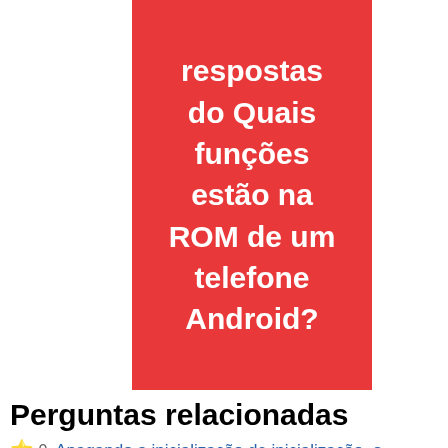[Figure (other): Red box with white text in Portuguese: 'respostas do Quais funções estão na ROM de um telefone Android?']
Perguntas relacionadas
⭐ 0  Apagando a inicialização de inicialização, o dispositivo pode ser bloqueado ( Erasing